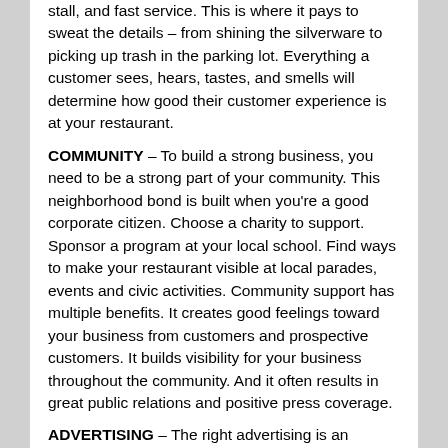stall, and fast service. This is where it pays to sweat the details – from shining the silverware to picking up trash in the parking lot. Everything a customer sees, hears, tastes, and smells will determine how good their customer experience is at your restaurant.
COMMUNITY – To build a strong business, you need to be a strong part of your community. This neighborhood bond is built when you're a good corporate citizen. Choose a charity to support. Sponsor a program at your local school. Find ways to make your restaurant visible at local parades, events and civic activities. Community support has multiple benefits. It creates good feelings toward your business from customers and prospective customers. It builds visibility for your business throughout the community. And it often results in great public relations and positive press coverage.
ADVERTISING – The right advertising is an essential part of marketing, but it needs to be done with a plan. So often a restaurant owner will decide to advertise, then the next ad rep who walks in the door gets a nice contract. It's much more important to follow a process. Decide who you need to be advertising to. This requires knowing who your